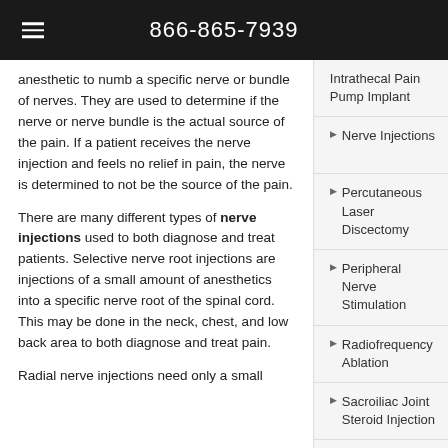866-865-7939
anesthetic to numb a specific nerve or bundle of nerves. They are used to determine if the nerve or nerve bundle is the actual source of the pain. If a patient receives the nerve injection and feels no relief in pain, the nerve is determined to not be the source of the pain.
There are many different types of nerve injections used to both diagnose and treat patients. Selective nerve root injections are injections of a small amount of anesthetics into a specific nerve root of the spinal cord. This may be done in the neck, chest, and low back area to both diagnose and treat pain.
Radial nerve injections need only a small
Intrathecal Pain Pump Implant
Nerve Injections
Percutaneous Laser Discectomy
Peripheral Nerve Stimulation
Radiofrequency Ablation
Sacroiliac Joint Steroid Injection